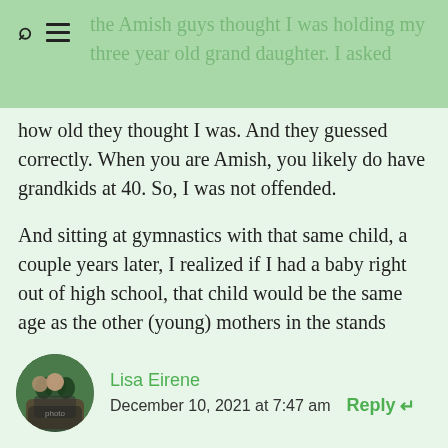the Amish guys thought I was holding my three year old grand daughter. I asked
how old they thought I was. And they guessed correctly. When you are Amish, you likely do have grandkids at 40. So, I was not offended.
And sitting at gymnastics with that same child, a couple years later, I realized if I had a baby right out of high school, that child would be the same age as the other (young) mothers in the stands watching class. That was a little mind blowing.
Lisa Eirene
December 10, 2021 at 7:47 am
Reply